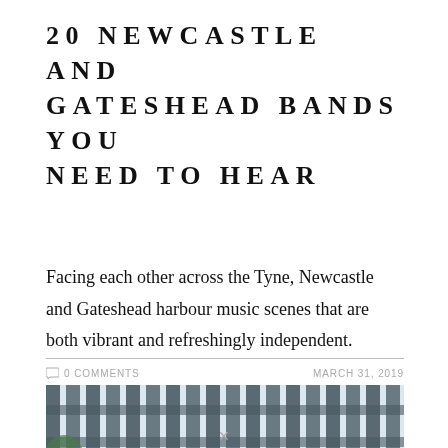20 NEWCASTLE AND GATESHEAD BANDS YOU NEED TO HEAR
Facing each other across the Tyne, Newcastle and Gateshead harbour music scenes that are both vibrant and refreshingly independent.
0 COMMENTS    MARCH 31, 2019
[Figure (photo): Photo of two people in front of a metal fence/gate structure, partially visible, one with dark curly hair and one with auburn/red hair]